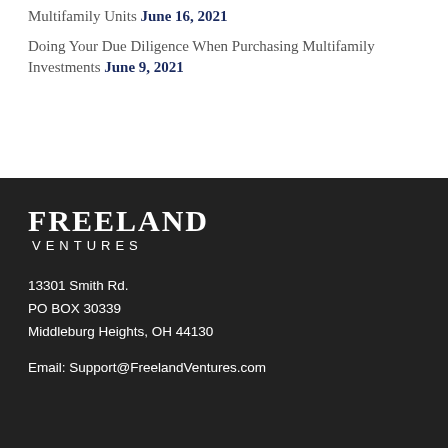Multifamily Units June 16, 2021
Doing Your Due Diligence When Purchasing Multifamily Investments June 9, 2021
[Figure (logo): Freeland Ventures logo in white text on dark background]
13301 Smith Rd.
PO BOX 30339
Middleburg Heights, OH 44130
Email: Support@FreelandVentures.com